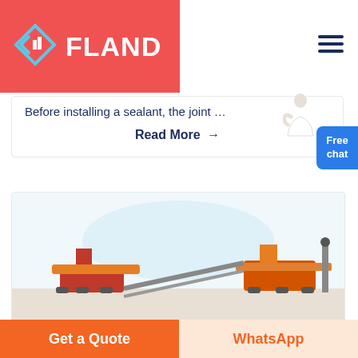[Figure (logo): FLAND company logo with diamond/arrow icon on red background header]
Before installing a sealant, the joint …
Read More →
[Figure (photo): Industrial machinery / crane equipment photo on a construction site]
Get a Quote
WhatsApp